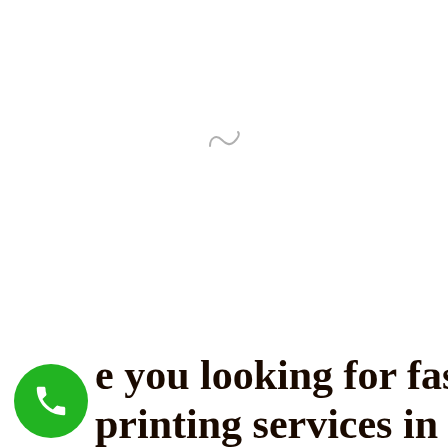[Figure (other): A small tilde/loading spinner symbol in light gray, centered near the top-middle of the page]
[Figure (other): Green circular phone/call button icon in the bottom-left corner]
e you looking for fast printing services in Delhi